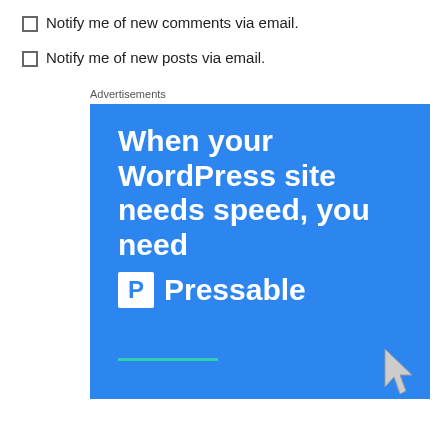Notify me of new comments via email.
Notify me of new posts via email.
Advertisements
[Figure (illustration): Blue advertisement banner for Pressable hosting. White bold text reads 'When your WordPress site needs speed, you need' followed by Pressable logo (P icon in white box) and 'Pressable' text. Green underline near bottom. Cursor icon at bottom right.]